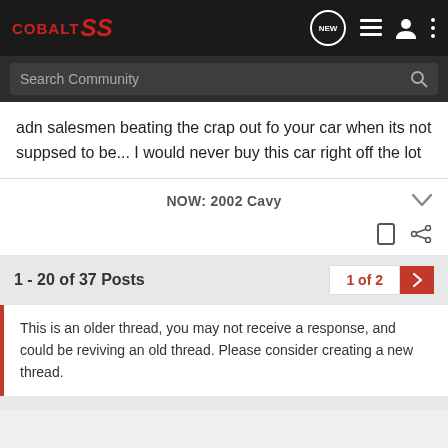COBALT SS
adn salesmen beating the crap out fo your car when its not suppsed to be... I would never buy this car right off the lot
NOW: 2002 Cavy
1 - 20 of 37 Posts
1 of 2
This is an older thread, you may not receive a response, and could be reviving an old thread. Please consider creating a new thread.